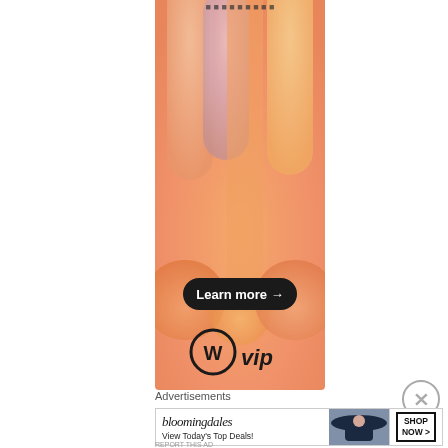[Figure (illustration): WordPress VIP advertisement banner with orange gradient background, abstract rounded pill shapes in peach/lavender/orange colors, a dark 'Learn more →' button, and WordPress VIP logo at bottom]
[Figure (illustration): Close/dismiss button (circled X) in gray]
Advertisements
[Figure (illustration): Bloomingdales advertisement banner: logo in italic serif font, tagline 'View Today's Top Deals!', image of woman with hat, 'SHOP NOW >' button]